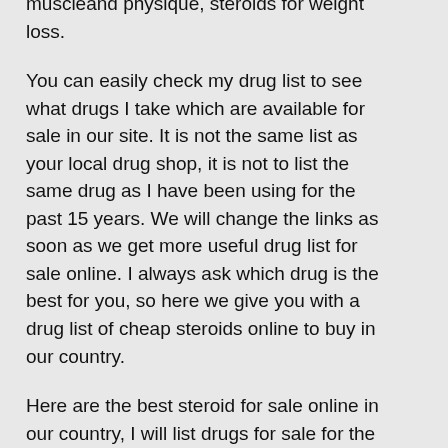muscleand physique, steroids for weight loss.
You can easily check my drug list to see what drugs I take which are available for sale in our site. It is not the same list as your local drug shop, it is not to list the same drug as I have been using for the past 15 years. We will change the links as soon as we get more useful drug list for sale online. I always ask which drug is the best for you, so here we give you with a drug list of cheap steroids online to buy in our country.
Here are the best steroid for sale online in our country, I will list drugs for sale for the sale of steroids , here we list the drugs list of cheap steroid for sale in philippines, online and in our store with a list of top sellers for best steroids.
So what drugs can you get from us? We